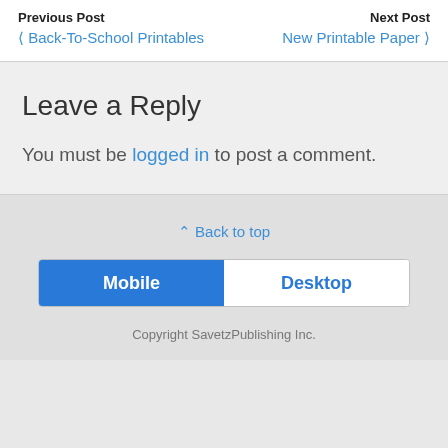Previous Post | Back-To-School Printables | Next Post | New Printable Paper
Leave a Reply
You must be logged in to post a comment.
⋀ Back to top
Mobile | Desktop
Copyright SavetzPublishing Inc.